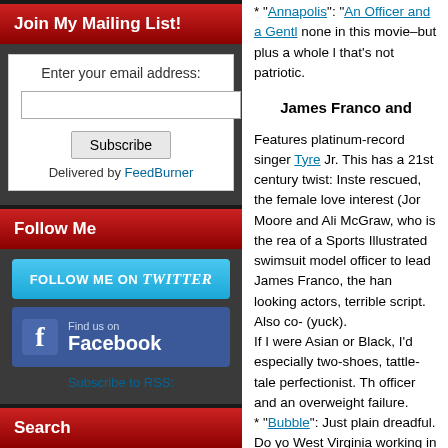Join My Mailing List!
Enter your email address:
Subscribe
Delivered by FeedBurner
Follow Me
[Figure (logo): Follow Me on Twitter button]
[Figure (logo): Find us on Facebook button]
Subscribe to RSS:
Search
* "Annapolis": "An Officer and a Gentl... none in this movie–but plus a whole l... that's not patriotic.
James Franco and...
Features platinum-record singer Tyre... Jr. This has a 21st century twist: Inste... rescued, the female love interest (Jor... Moore and Ali McGraw, who is the rea... of a Sports Illustrated swimsuit model... officer to lead James Franco, the han... looking actors, terrible script. Also co-... (yuck).
If I were Asian or Black, I'd especially... two-shoes, tattle-tale perfectionist. Th... officer and an overweight failure.
* "Bubble": Just plain dreadful. Do yo... West Virginia working in a factory and... an elitist view, given that movies are s... workers would want to escape this me... instead of real, glamorous actors doe... billed. In fact, that comes at the end o...